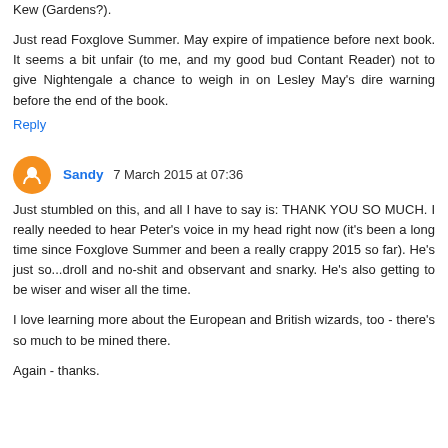Kew (Gardens?).
Just read Foxglove Summer. May expire of impatience before next book. It seems a bit unfair (to me, and my good bud Contant Reader) not to give Nightengale a chance to weigh in on Lesley May's dire warning before the end of the book.
Reply
Sandy 7 March 2015 at 07:36
Just stumbled on this, and all I have to say is: THANK YOU SO MUCH. I really needed to hear Peter's voice in my head right now (it's been a long time since Foxglove Summer and been a really crappy 2015 so far). He's just so...droll and no-shit and observant and snarky. He's also getting to be wiser and wiser all the time.
I love learning more about the European and British wizards, too - there's so much to be mined there.
Again - thanks.